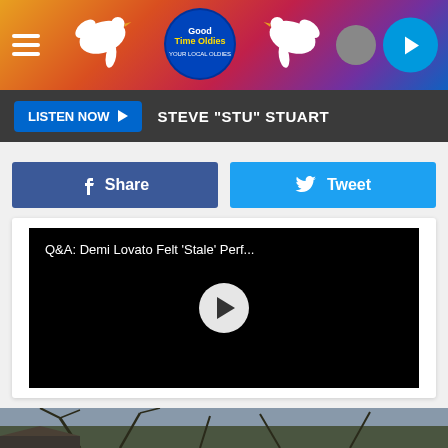[Figure (screenshot): Website header banner with colorful gradient background (orange, red, purple, blue), two white dove graphics, a circular 'Good Time Oldies' logo in center, hamburger menu icon on left, and circular play button on right]
LISTEN NOW ▶  STEVE "STU" STUART
[Figure (screenshot): Facebook Share button (blue) and Twitter Tweet button (light blue) side by side]
[Figure (screenshot): Video player thumbnail with black background showing title 'Q&A: Demi Lovato Felt 'Stale' Perf...' and a white circular play button in center]
[Figure (photo): Outdoor photo showing bare tree branches against a sky, with the top of a building/roof visible at the bottom left]